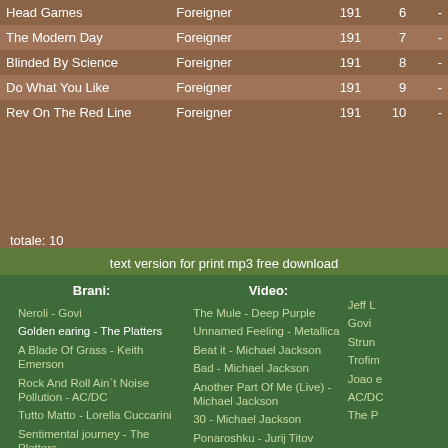| Title | Artist | 191 |  |  |
| --- | --- | --- | --- | --- |
| Head Games | Foreigner | 191 | 6 | - |
| The Modern Day | Foreigner | 191 | 7 | - |
| Blinded By Science | Foreigner | 191 | 8 | - |
| Do What You Like | Foreigner | 191 | 9 | - |
| Rev On The Red Line | Foreigner | 191 | 10 | - |
totale: 10
text version for print mp3 free download
Brani:
Neroli - Govi
Golden earing - The Platters
A Blade Of Grass - Keith Emerson
Rock And Roll Ain`t Noise Pollution - AC/DC
Tutto Matto - Lorella Cuccarini
Sentimental journey - The Platters
Catch the wind - The
Video:
The Mule - Deep Purple
Unnamed Feeling - Metallica
Beat it - Michael Jackson
Bad - Michael Jackson
Another Part Of Me (Live) - Michael Jackson
30 - Michael Jackson
Ponaroshku - Jurij Titov
Jeff L
Govi
Strun
Trofim
Joao e
AC/DC
The P